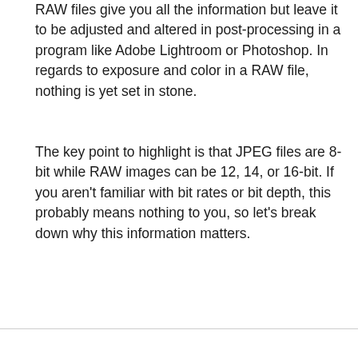RAW files give you all the information but leave it to be adjusted and altered in post-processing in a program like Adobe Lightroom or Photoshop. In regards to exposure and color in a RAW file, nothing is yet set in stone.
The key point to highlight is that JPEG files are 8-bit while RAW images can be 12, 14, or 16-bit. If you aren't familiar with bit rates or bit depth, this probably means nothing to you, so let's break down why this information matters.